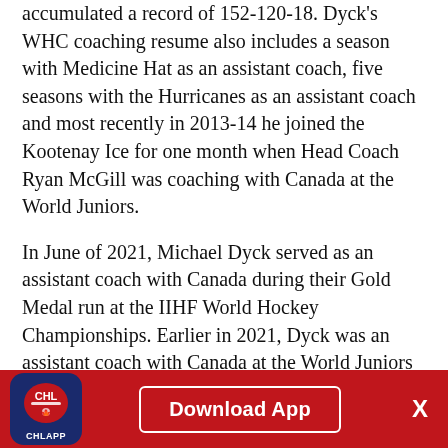accumulated a record of 152-120-18. Dyck's WHC coaching resume also includes a season with Medicine Hat as an assistant coach, five seasons with the Hurricanes as an assistant coach and most recently in 2013-14 he joined the Kootenay Ice for one month when Head Coach Ryan McGill was coaching with Canada at the World Juniors.
In June of 2021, Michael Dyck served as an assistant coach with Canada during their Gold Medal run at the IIHF World Hockey Championships. Earlier in 2021, Dyck was an assistant coach with Canada at the World Juniors and he earned a Silver Medal. He also earned a silver medal as the head coach of Canada's team at the 2018 Hlinka Gretzky Championship. Additionally, he served as Team Canada Pacific's Head Coach twice (2009-10 and 2011-12) at the World Under-17 Hockey Challenge. He also served as Alberta's Head Coach at the
[Figure (logo): CHL App logo - blue rounded square with CHL hockey logo and CHLAPP text below, red bar with Download App button and X close button]